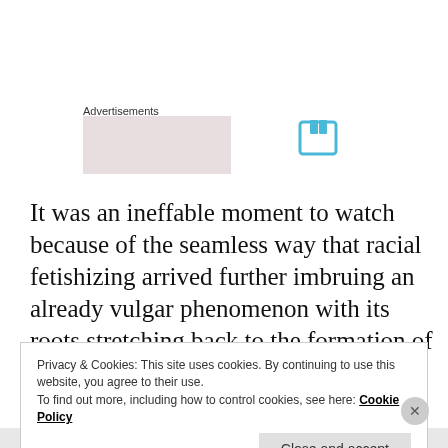Advertisements
[Figure (other): Advertisement placeholder box with light pink/mauve background]
[Figure (other): Blue bookmark/reading icon]
It was an ineffable moment to watch because of the seamless way that racial fetishizing arrived further imbruing an already vulgar phenomenon with its roots stretching back to the formation of this country.
Privacy & Cookies: This site uses cookies. By continuing to use this website, you agree to their use. To find out more, including how to control cookies, see here: Cookie Policy
Close and accept